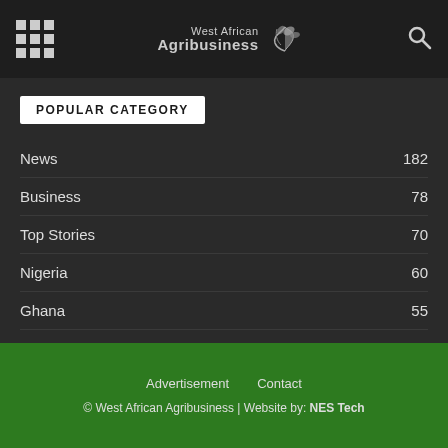West African Agribusiness
POPULAR CATEGORY
News 182
Business 78
Top Stories 70
Nigeria 60
Ghana 55
Editor Picks 54
Crops 47
Advertisement   Contact   © West African Agribusiness | Website by: NES Tech